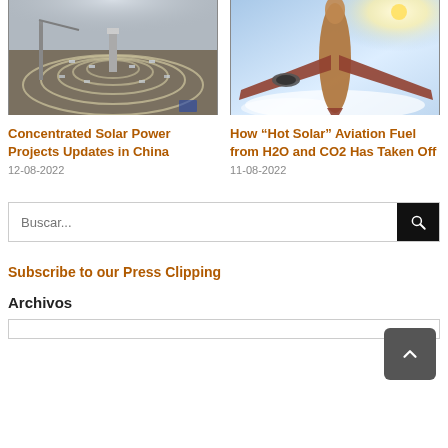[Figure (photo): Aerial view of a concentrated solar power plant with circular rows of mirrors in China]
[Figure (photo): Underside view of a commercial airplane in flight above clouds with the sun visible]
Concentrated Solar Power Projects Updates in China
12-08-2022
How “Hot Solar” Aviation Fuel from H2O and CO2 Has Taken Off
11-08-2022
Buscar...
Subscribe to our Press Clipping
Archivos